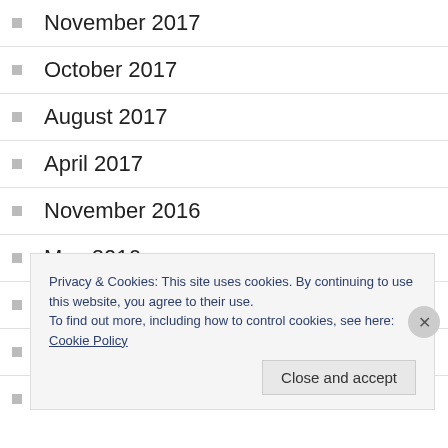November 2017
October 2017
August 2017
April 2017
November 2016
May 2016
February 2016
January 2016
December 2015
Privacy & Cookies: This site uses cookies. By continuing to use this website, you agree to their use.
To find out more, including how to control cookies, see here: Cookie Policy
Close and accept